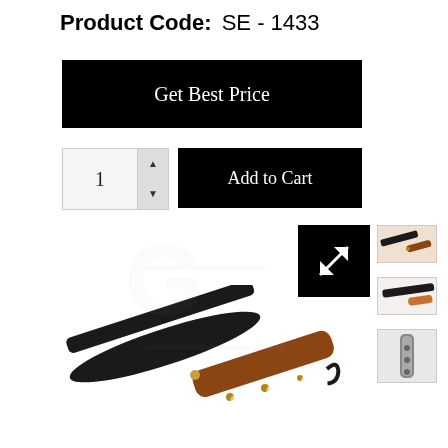Product Code: SE - 1433
Get Best Price
1
Add to Cart
[Figure (photo): A straight razor with a black blade and wooden handle with rivets, shown open and laid flat. A gray watermark logo is visible in the background. An expand/fullscreen icon button is shown, along with three small thumbnail images of the product on the right side.]